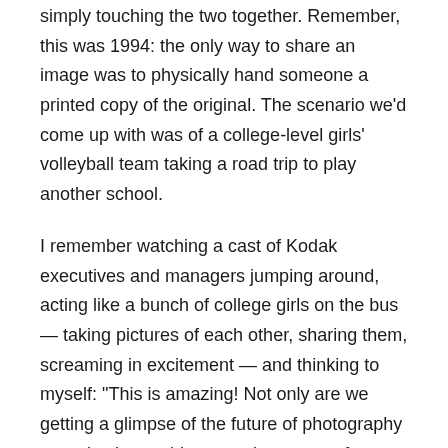simply touching the two together. Remember, this was 1994: the only way to share an image was to physically hand someone a printed copy of the original. The scenario we'd come up with was of a college-level girls' volleyball team taking a road trip to play another school.
I remember watching a cast of Kodak executives and managers jumping around, acting like a bunch of college girls on the bus — taking pictures of each other, sharing them, screaming in excitement — and thinking to myself: "This is amazing! Not only are we getting a glimpse of the future of photography — we've been able to teach a group of conservative engineers and administrators how to transform the way they think about their